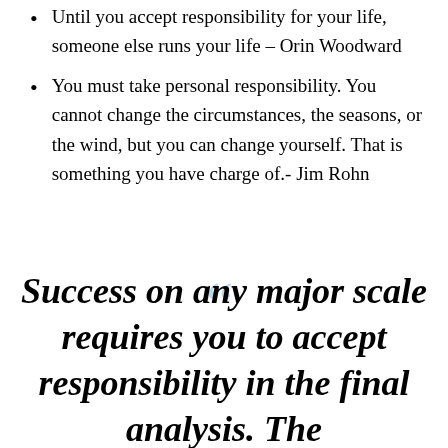Until you accept responsibility for your life, someone else runs your life – Orin Woodward
You must take personal responsibility. You cannot change the circumstances, the seasons, or the wind, but you can change yourself. That is something you have charge of.- Jim Rohn
Success on any major scale requires you to accept responsibility in the final analysis. The